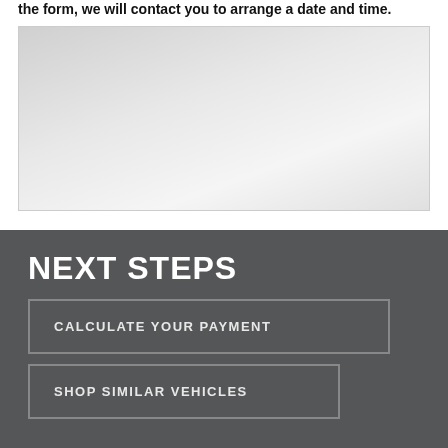the form, we will contact you to arrange a date and time.
[Figure (photo): Light gray placeholder image, likely a vehicle photo area with gradient from mid-gray to light gray]
NEXT STEPS
CALCULATE YOUR PAYMENT
SHOP SIMILAR VEHICLES